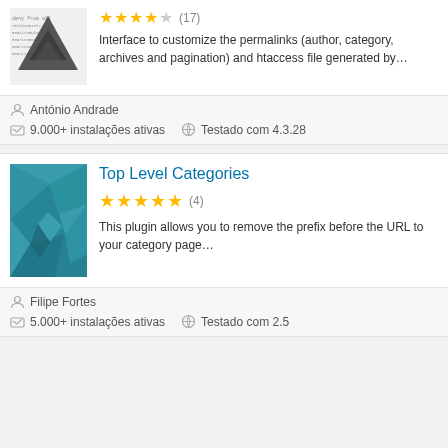[Figure (screenshot): Dark triangular logo (Akeeba-style) with code text behind it on white background]
Interface to customize the permalinks (author, category, archives and pagination) and htaccess file generated by...
António Andrade
9.000+ instalações ativas   Testado com 4.3.28
[Figure (illustration): Teal/blue geometric polygon low-poly background image]
Top Level Categories
5 stars (4) — This plugin allows you to remove the prefix before the URL to your category page...
Filipe Fortes
5.000+ instalações ativas   Testado com 2.5